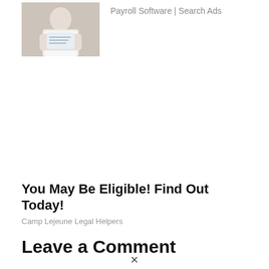[Figure (photo): Person holding a paycheck or document, used in an advertisement for Payroll Software]
Payroll Software | Search Ads
You May Be Eligible! Find Out Today!
Camp Lejeune Legal Helpers
Leave a Comment
×